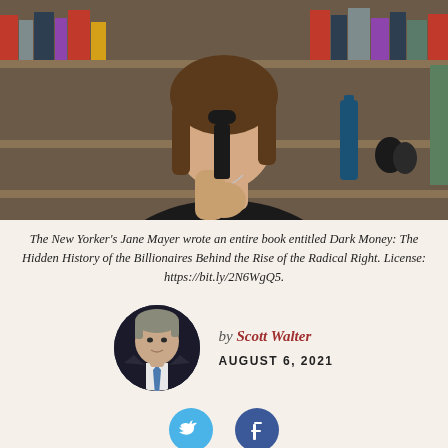[Figure (photo): Woman in black top holding microphone in front of bookshelves]
The New Yorker's Jane Mayer wrote an entire book entitled Dark Money: The Hidden History of the Billionaires Behind the Rise of the Radical Right. License: https://bit.ly/2N6WgQ5.
[Figure (photo): Headshot of Scott Walter, a man in a suit]
by Scott Walter
AUGUST 6, 2021
[Figure (infographic): Twitter and Facebook social share buttons]